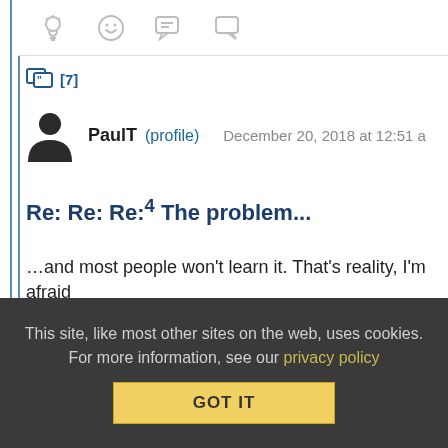[Figure (screenshot): Forum thread icons row at top (lightbulb, smiley, quote icons)]
[7]
PaulT (profile)  December 20, 2018 at 12:51 a
Re: Re: Re:4 The problem...
…and most people won't learn it. That's reality, I'm afraid
Reply | View in chronology
[Figure (screenshot): Forum action icons row at bottom (lightbulb, laugh emoji, quote left, quote right icons)]
This site, like most other sites on the web, uses cookies. For more information, see our privacy policy
GOT IT